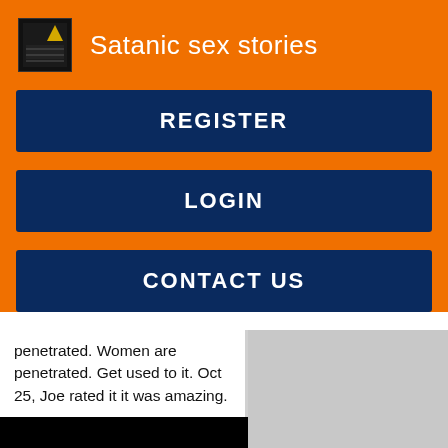Satanic sex stories
REGISTER
LOGIN
CONTACT US
penetrated. Women are penetrated. Get used to it. Oct 25, Joe rated it it was amazing.
[Figure (photo): A dark image partially visible at bottom, with black upper portion and a dimly lit scene below]